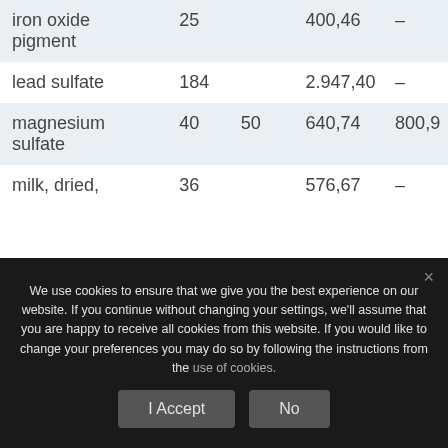| Item | Col2 | Col3 | Price1 | Price2 |
| --- | --- | --- | --- | --- |
| iron oxide pigment | 25 |  | 400,46 | – |
| lead sulfate | 184 |  | 2.947,40 | – |
| magnesium sulfate | 40 | 50 | 640,74 | 800,9 |
| milk, dried, | 36 |  | 576,67 | – |
We use cookies to ensure that we give you the best experience on our website. If you continue without changing your settings, we'll assume that you are happy to receive all cookies from this website. If you would like to change your preferences you may do so by following the instructions from the use of cookies.